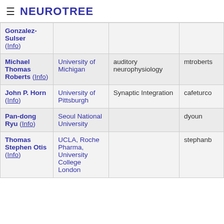≡ NEUROTREE
| Name | Institution | Area | Username |
| --- | --- | --- | --- |
| Gonzalez-Sulser (Info) |  |  |  |
| Michael Thomas Roberts (Info) | University of Michigan | auditory neurophysiology | mtroberts |
| John P. Horn (Info) | University of Pittsburgh | Synaptic Integration | cafeturco |
| Pan-dong Ryu (Info) | Seoul National University |  | dyoun |
| Thomas Stephen Otis (Info) | UCLA, Roche Pharma, University College London |  | stephanb |